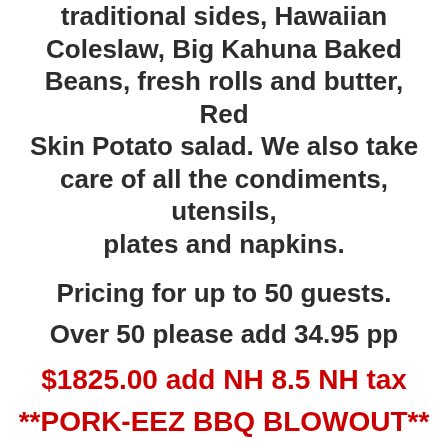traditional sides, Hawaiian Coleslaw, Big Kahuna Baked Beans, fresh rolls and butter, Red Skin Potato salad. We also take care of all the condiments, utensils, plates and napkins.
Pricing for up to 50 guests.
Over 50 please add 34.95 pp
$1825.00 add NH 8.5 NH tax
**PORK-EEZ BBQ BLOWOUT**
We won't roast a whole piggy, but we smoke up plenty of protein. Fresh hickory smoked pork shoulder pulled and chopped,